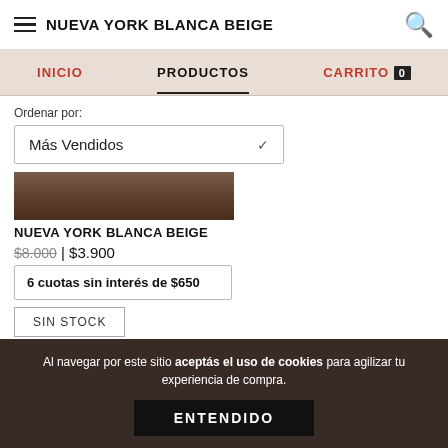NUEVA YORK BLANCA BEIGE
INICIO | PRODUCTOS | CARRITO 0
Ordenar por:
Más Vendidos
[Figure (photo): Partial product image of Nueva York Blanca Beige item, dark brown color]
NUEVA YORK BLANCA BEIGE
$8.000 | $3.900
6 cuotas sin interés de $650
SIN STOCK
Al navegar por este sitio aceptás el uso de cookies para agilizar tu experiencia de compra.
ENTENDIDO